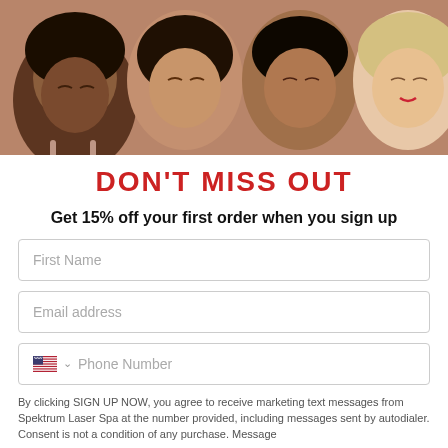[Figure (photo): Four women lying down with heads together, eyes closed, peaceful expressions, viewed from above]
DON'T MISS OUT
Get 15% off your first order when you sign up
First Name
Email address
Phone Number
By clicking SIGN UP NOW, you agree to receive marketing text messages from Spektrum Laser Spa at the number provided, including messages sent by autodialer. Consent is not a condition of any purchase. Message